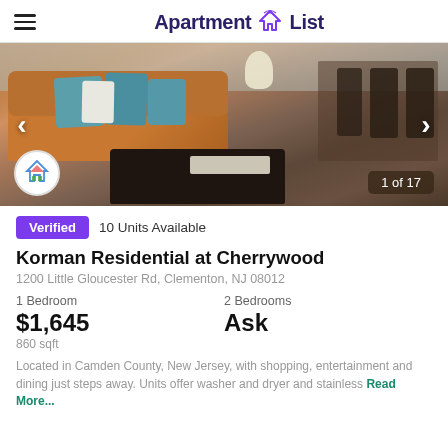Apartment List
[Figure (photo): Interior photo of an apartment living room with brown sofa, teal throw pillows, dark coffee table, and dining area in the background. Shows '1 of 17' photo counter.]
Verified  10 Units Available
Korman Residential at Cherrywood
1200 Little Gloucester Rd, Clementon, NJ 08012
1 Bedroom
$1,645
860 sqft
2 Bedrooms
Ask
Located in Camden County, New Jersey, with shopping, entertainment and dining just steps away. Units offer washer and dryer and stainless Read More...